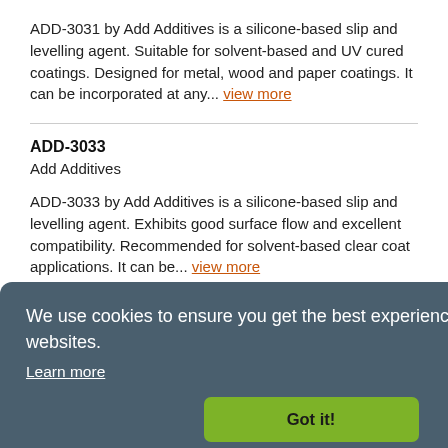ADD-3031 by Add Additives is a silicone-based slip and levelling agent. Suitable for solvent-based and UV cured coatings. Designed for metal, wood and paper coatings. It can be incorporated at any... view more
ADD-3033
Add Additives
ADD-3033 by Add Additives is a silicone-based slip and levelling agent. Exhibits good surface flow and excellent compatibility. Recommended for solvent-based clear coat applications. It can be... view more
We use cookies to ensure you get the best experience on SpecialChem websites.
Learn more
Got it!
g, slip
It is
ck to Top